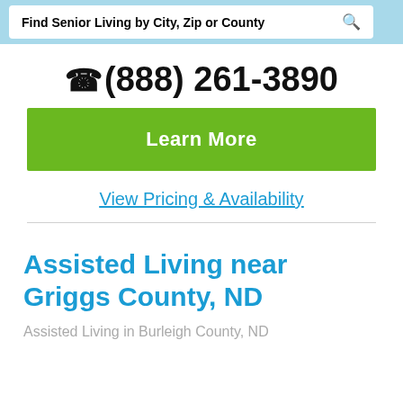Find Senior Living by City, Zip or County
(888) 261-3890
Learn More
View Pricing & Availability
Assisted Living near Griggs County, ND
Assisted Living in Burleigh County, ND